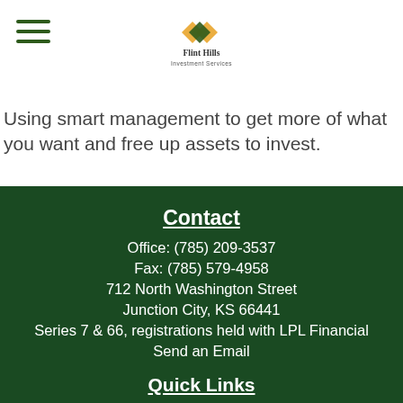[Figure (logo): Flint Hills Investment Services logo with diamond/chevron shapes in gold and green, with company name below]
Using smart management to get more of what you want and free up assets to invest.
Contact
Office: (785) 209-3537
Fax: (785) 579-4958
712 North Washington Street
Junction City, KS 66441
Series 7 & 66, registrations held with LPL Financial
Send an Email
Quick Links
Retirement
Investment